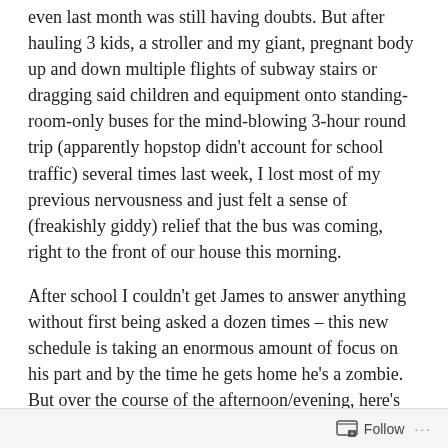even last month was still having doubts. But after hauling 3 kids, a stroller and my giant, pregnant body up and down multiple flights of subway stairs or dragging said children and equipment onto standing-room-only buses for the mind-blowing 3-hour round trip (apparently hopstop didn't account for school traffic) several times last week, I lost most of my previous nervousness and just felt a sense of (freakishly giddy) relief that the bus was coming, right to the front of our house this morning.
After school I couldn't get James to answer anything without first being asked a dozen times – this new schedule is taking an enormous amount of focus on his part and by the time he gets home he's a zombie. But over the course of the afternoon/evening, here's what I was told about "the short bus." It probably adds up to a minute if
Follow ···